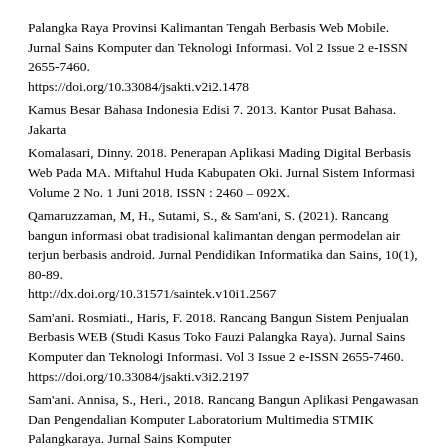Palangka Raya Provinsi Kalimantan Tengah Berbasis Web Mobile. Jurnal Sains Komputer dan Teknologi Informasi. Vol 2 Issue 2 e-ISSN 2655-7460. https://doi.org/10.33084/jsakti.v2i2.1478
Kamus Besar Bahasa Indonesia Edisi 7. 2013. Kantor Pusat Bahasa. Jakarta
Komalasari, Dinny. 2018. Penerapan Aplikasi Mading Digital Berbasis Web Pada MA. Miftahul Huda Kabupaten Oki. Jurnal Sistem Informasi Volume 2 No. 1 Juni 2018. ISSN : 2460 – 092X.
Qamaruzzaman, M, H., Sutami, S., & Sam'ani, S. (2021). Rancang bangun informasi obat tradisional kalimantan dengan permodelan air terjun berbasis android. Jurnal Pendidikan Informatika dan Sains, 10(1), 80-89. http://dx.doi.org/10.31571/saintek.v10i1.2567
Sam'ani. Rosmiati., Haris, F. 2018. Rancang Bangun Sistem Penjualan Berbasis WEB (Studi Kasus Toko Fauzi Palangka Raya). Jurnal Sains Komputer dan Teknologi Informasi. Vol 3 Issue 2 e-ISSN 2655-7460. https://doi.org/10.33084/jsakti.v3i2.2197
Sam'ani. Annisa, S., Heri., 2018. Rancang Bangun Aplikasi Pengawasan Dan Pengendalian Komputer Laboratorium Multimedia STMIK Palangkaraya. Jurnal Sains Komputer